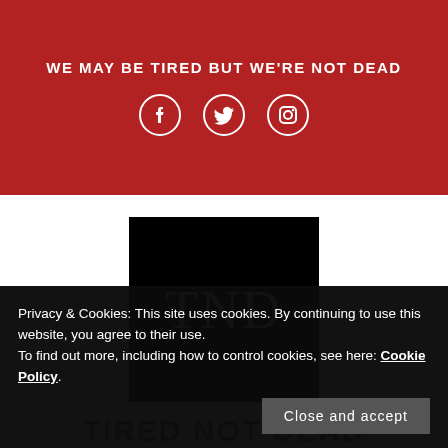WE MAY BE TIRED BUT WE'RE NOT DEAD
[Figure (logo): Social media icons: Facebook, Twitter, Instagram in white on red background]
[Figure (logo): TND logo: white letters T, N, D on black square background]
TIRED NOT DEAD
Privacy & Cookies: This site uses cookies. By continuing to use this website, you agree to their use.
To find out more, including how to control cookies, see here: Cookie Policy.
Close and accept